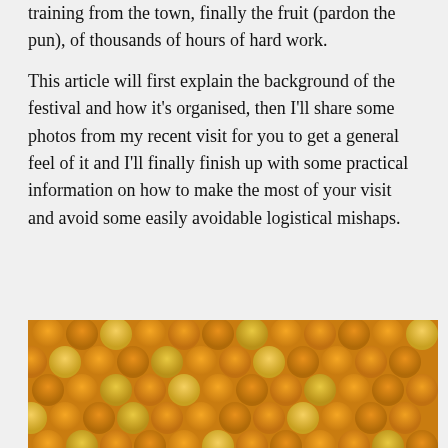…training from the town, finally the fruit (pardon the pun), of thousands of hours of hard work.
This article will first explain the background of the festival and how it's organised, then I'll share some photos from my recent visit for you to get a general feel of it and I'll finally finish up with some practical information on how to make the most of your visit and avoid some easily avoidable logistical mishaps.
[Figure (photo): Close-up photograph of rows of oranges and lemons arranged in a dense grid pattern, showing a mixture of orange-colored fruits and yellow lemons.]